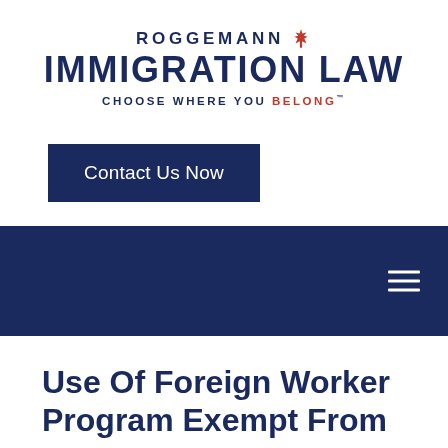[Figure (logo): Roggemann Immigration Law logo with Canadian maple leaf and tagline 'Choose Where You Belong']
Contact Us Now
[Figure (other): Dark navy navigation bar with hamburger menu icon]
Use Of Foreign Worker Program Exempt From